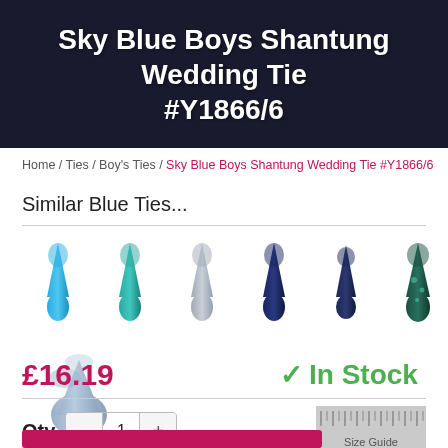Sky Blue Boys Shantung Wedding Tie #Y1866/6
Home / Ties / Boy's Ties / Sky Blue Boys Shantung Wedding Tie #Y1866/6
Similar Blue Ties...
[Figure (photo): Six blue ties in a row: bright sky blue solid, teal/turquoise patterned, light grey/blue textured, dark navy solid, dark navy solid, dark teal with paisley pattern]
[Figure (photo): Single light grey-blue solid tie, rolled/folded view]
£16.19
✓ In Stock
Qty  —  1  +
[Figure (other): Size guide ruler graphic]
Size Guide